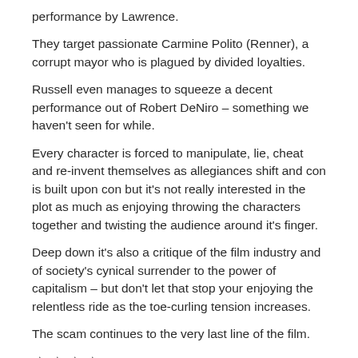performance by Lawrence.
They target passionate Carmine Polito (Renner), a corrupt mayor who is plagued by divided loyalties.
Russell even manages to squeeze a decent performance out of Robert DeNiro – something we haven't seen for while.
Every character is forced to manipulate, lie, cheat and re-invent themselves as allegiances shift and con is built upon con but it's not really interested in the plot as much as enjoying throwing the characters together and twisting the audience around it's finger.
Deep down it's also a critique of the film industry and of society's cynical surrender to the power of capitalism – but don't let that stop your enjoying the relentless ride as the toe-curling tension increases.
The scam continues to the very last line of the film.
★★★★
SHARE THIS: